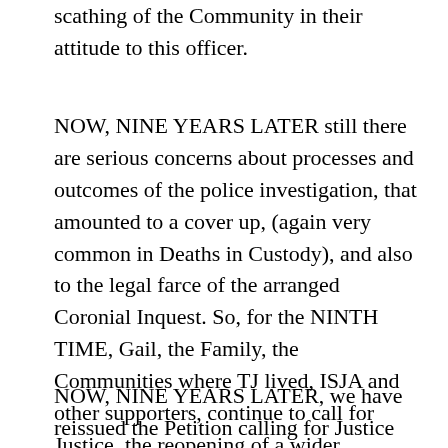scathing of the Community in their attitude to this officer.
NOW, NINE YEARS LATER still there are serious concerns about processes and outcomes of the police investigation, that amounted to a cover up, (again very common in Deaths in Custody), and also to the legal farce of the arranged Coronial Inquest. So, for the NINTH TIME, Gail, the Family, the Communities where TJ lived, ISJA and other supporters, continue to call for Justice, the reopening of a wider investigation into the facts, the non-appearance of witnesses and all other withheld evidence, to allow for a full forensic examination of the facts to reach an honest and Just conclusion.
NOW, NINE YEARS LATER, we have reissued the Petition calling for Justice for TJ and his Family. We